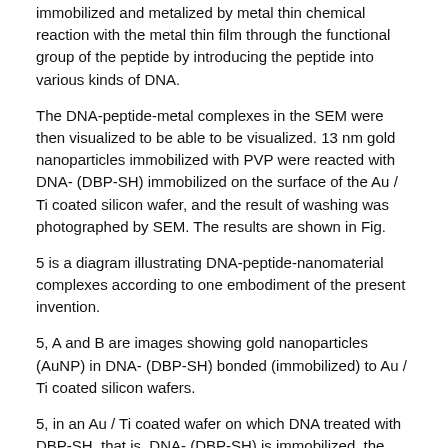immobilized and metalized by metal thin chemical reaction with the metal thin film through the functional group of the peptide by introducing the peptide into various kinds of DNA.
The DNA-peptide-metal complexes in the SEM were then visualized to be able to be visualized. 13 nm gold nanoparticles immobilized with PVP were reacted with DNA- (DBP-SH) immobilized on the surface of the Au / Ti coated silicon wafer, and the result of washing was photographed by SEM. The results are shown in Fig.
5 is a diagram illustrating DNA-peptide-nanomaterial complexes according to one embodiment of the present invention.
5, A and B are images showing gold nanoparticles (AuNP) in DNA- (DBP-SH) bonded (immobilized) to Au / Ti coated silicon wafers.
5, in an Au / Ti coated wafer on which DNA treated with DBP-SH, that is, DNA- (DBP-SH) is immobilized, the gold nanoparticles are linearly shaped as shown in FIG. Structure. &Lt; / RTI &gt; This indicates that it is possible to image (visualize) the gold nanoparticles and the DNA-